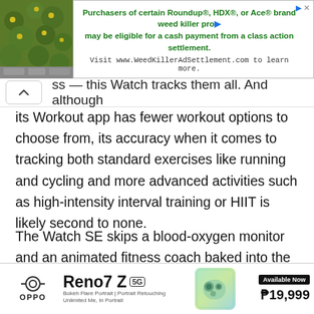[Figure (screenshot): Advertisement banner: green foliage image on left, text about Roundup/HDX/Ace weedkiller class action settlement on right, with URL www.WeedKillerAdSettlement.com]
ss — this Watch tracks them all. And although its Workout app has fewer workout options to choose from, its accuracy when it comes to tracking both standard exercises like running and cycling and more advanced activities such as high-intensity interval training or HIIT is likely second to none.
The Watch SE skips a blood-oxygen monitor and an animated fitness coach baked into the software, though the latter can easily be offset by dozens of
[Figure (screenshot): Bottom advertisement for OPPO Reno7 Z 5G smartphone. Shows OPPO logo, Reno7 Z branding with 5G badge, Bokeh Flare Portrait / Portrait Retouching subtitle, Unlimited Me, In Portrait tagline, phone product image, Available Now badge, price ₱19,999]